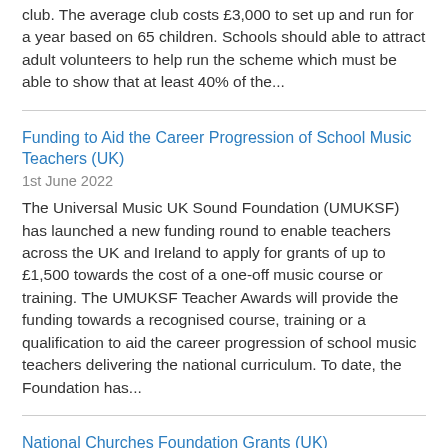club. The average club costs £3,000 to set up and run for a year based on 65 children. Schools should able to attract adult volunteers to help run the scheme which must be able to show that at least 40% of the...
Funding to Aid the Career Progression of School Music Teachers (UK)
1st June 2022
The Universal Music UK Sound Foundation (UMUKSF) has launched a new funding round to enable teachers across the UK and Ireland to apply for grants of up to £1,500 towards the cost of a one-off music course or training. The UMUKSF Teacher Awards will provide the funding towards a recognised course, training or a qualification to aid the career progression of school music teachers delivering the national curriculum. To date, the Foundation has...
National Churches Foundation Grants (UK)
31st May 2022
Churches across the UK can apply for grants of